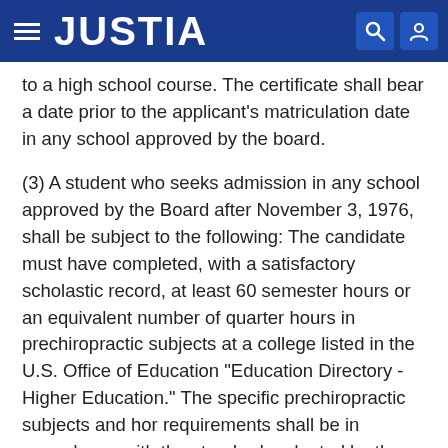JUSTIA
to a high school course. The certificate shall bear a date prior to the applicant's matriculation date in any school approved by the board.
(3) A student who seeks admission in any school approved by the Board after November 3, 1976, shall be subject to the following: The candidate must have completed, with a satisfactory scholastic record, at least 60 semester hours or an equivalent number of quarter hours in prechiropractic subjects at a college listed in the U.S. Office of Education "Education Directory - Higher Education." The specific prechiropractic subjects and hor requirements shall be in accordance with the standards adopted by the Council on Chiropractic Education.
(e) Advanced Standing